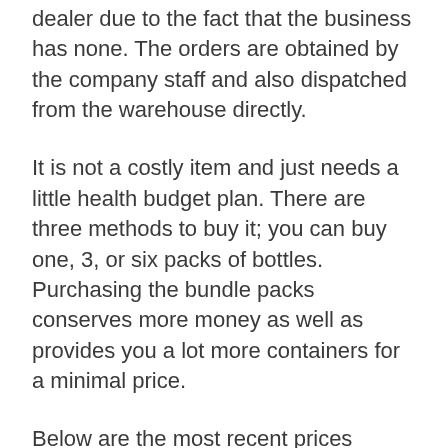dealer due to the fact that the business has none. The orders are obtained by the company staff and also dispatched from the warehouse directly.
It is not a costly item and just needs a little health budget plan. There are three methods to buy it; you can buy one, 3, or six packs of bottles. Purchasing the bundle packs conserves more money as well as provides you a lot more containers for a minimal price.
Below are the most recent prices details.
Get 30-day supply for $59.00 + $9.95 United States Shipping
Obtain a 90-day supply for $240 + Free US Shipping